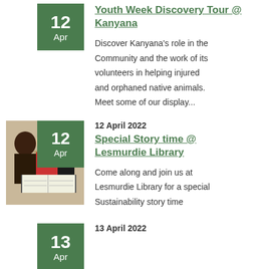12 April 2022
Youth Week Discovery Tour @ Kanyana
Discover Kanyana's role in the Community and the work of its volunteers in helping injured and orphaned native animals. Meet some of our display...
[Figure (photo): Children reading a book together]
12 April 2022
Special Story time @ Lesmurdie Library
Come along and join us at Lesmurdie Library for a special Sustainability story time
13 April 2022